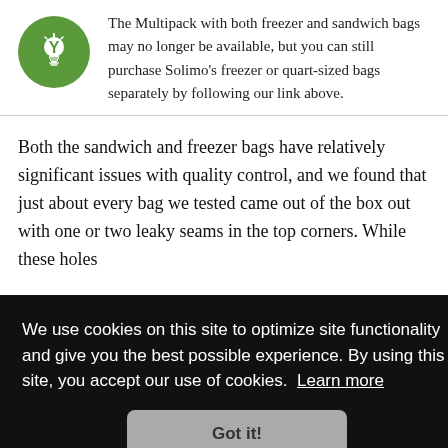The Multipack with both freezer and sandwich bags may no longer be available, but you can still purchase Solimo's freezer or quart-sized bags separately by following our link above.
Both the sandwich and freezer bags have relatively significant issues with quality control, and we found that just about every bag we tested came out of the box out with one or two leaky seams in the top corners. While these holes [they] [made] [al for
We use cookies on this site to optimize site functionality and give you the best possible experience. By using this site, you accept our use of cookies. Learn more
Got it!
bag, the Solimo multipack should just about cover the baggie needs